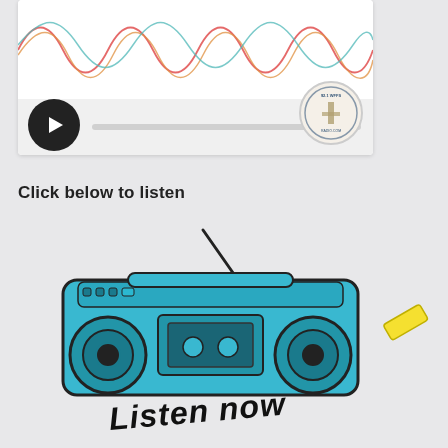[Figure (screenshot): Audio player widget with waveform visualization showing sine waves in red, orange, and teal. A black circular play button is on the left. A circular station logo badge for '92.1 WFFS' is in the bottom right of the player.]
Click below to listen
[Figure (illustration): Illustration of a blue boombox/radio with antenna, with a yellow diagonal rectangle accent. Below the boombox is text reading 'Listen now' in a handwritten italic style.]